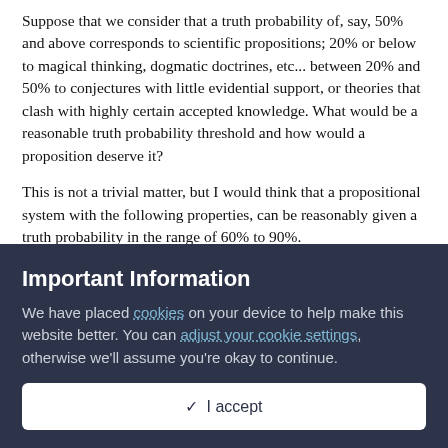Suppose that we consider that a truth probability of, say, 50% and above corresponds to scientific propositions; 20% or below to magical thinking, dogmatic doctrines, etc... between 20% and 50% to conjectures with little evidential support, or theories that clash with highly certain accepted knowledge. What would be a reasonable truth probability threshold and how would a proposition deserve it?
This is not a trivial matter, but I would think that a propositional system with the following properties, can be reasonably given a truth probability in the range of 60% to 90%.
(a) Well integrable into the accepted knowledge, that is, which doesn't contradict Science.
(b) Supported by evidence, even if not scientific grade evidence,
Important Information
We have placed cookies on your device to help make this website better. You can adjust your cookie settings, otherwise we'll assume you're okay to continue.
✓  I accept